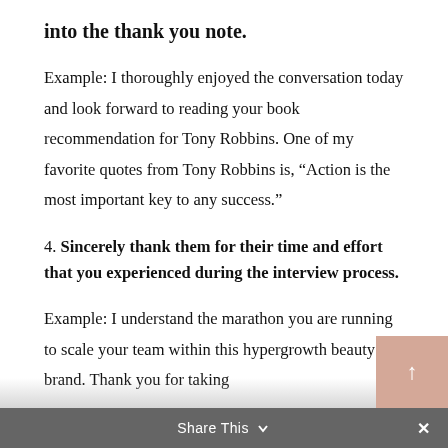into the thank you note.
Example: I thoroughly enjoyed the conversation today and look forward to reading your book recommendation for Tony Robbins. One of my favorite quotes from Tony Robbins is, “Action is the most important key to any success.”
4. Sincerely thank them for their time and effort that you experienced during the interview process.
Example: I understand the marathon you are running to scale your team within this hypergrowth beauty brand. Thank you for taking
Share This